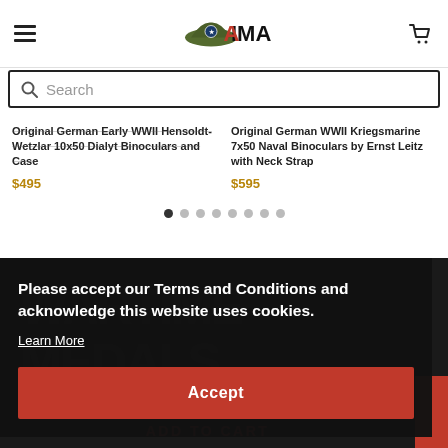[Figure (logo): AIMA logo with green military hat and red/black text]
Search
Original German Early WWII Hensoldt-Wetzlar 10x50 Dialyt Binoculars and Case $495
Original German WWII Kriegsmarine 7x50 Naval Binoculars by Ernst Leitz with Neck Strap $595
Please accept our Terms and Conditions and acknowledge this website uses cookies.
Learn More
Accept
ADD TO CART